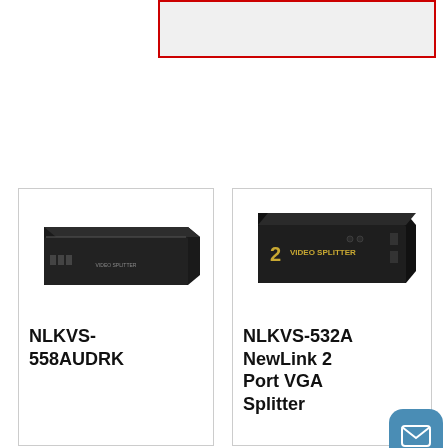[Figure (other): Red-bordered search or input box at top of page, partially visible]
[Figure (photo): Photo of NLKVS-558AUDRK product - a flat black electronic VGA splitter device]
NLKVS-558AUDRK
[Figure (photo): Photo of NLKVS-532A product - a black box labeled VIDEO SPLITTER]
NLKVS-532A NewLink 2 Port VGA Splitter